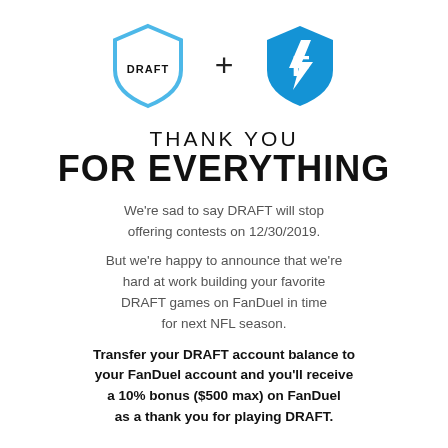[Figure (logo): DRAFT shield logo (light blue outline shield with DRAFT text) plus sign and FanDuel logo (solid blue shield with lightning bolt F)]
THANK YOU
FOR EVERYTHING
We're sad to say DRAFT will stop offering contests on 12/30/2019.
But we're happy to announce that we're hard at work building your favorite DRAFT games on FanDuel in time for next NFL season.
Transfer your DRAFT account balance to your FanDuel account and you'll receive a 10% bonus ($500 max) on FanDuel as a thank you for playing DRAFT.